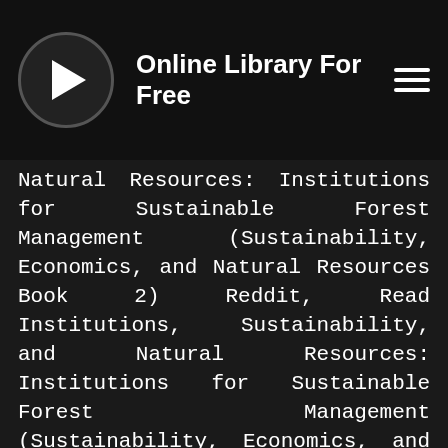Online Library For Free
Natural Resources: Institutions for Sustainable Forest Management (Sustainability, Economics, and Natural Resources Book 2) Reddit, Read Institutions, Sustainability, and Natural Resources: Institutions for Sustainable Forest Management (Sustainability, Economics, and Natural Resources Book 2) Online Free, Download Institutions, Sustainability, and Natural Resources: Institutions for Sustainable Forest Management (Sustainability, Economics, and Natural Resources Book 2) Leaked Full Book, Download Institutions, Sustainability, and Natural Resources: Institutions for Sustainable Forest Management (Sustainability, Economics, and Natural Resources Book 2) English Version, Read Institutions, Sustainability, and Natural Resources: Institutions for Sustainable